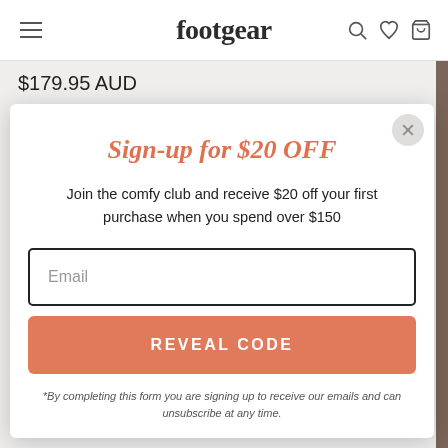footgear
$179.95 AUD
Sign-up for $20 OFF
Join the comfy club and receive $20 off your first purchase when you spend over $150
Email
REVEAL CODE
*By completing this form you are signing up to receive our emails and can unsubscribe at any time.